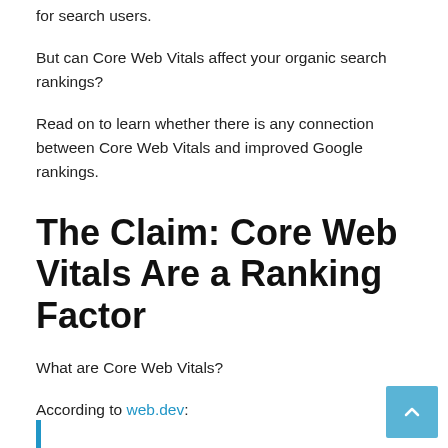for search users.
But can Core Web Vitals affect your organic search rankings?
Read on to learn whether there is any connection between Core Web Vitals and improved Google rankings.
The Claim: Core Web Vitals Are a Ranking Factor
What are Core Web Vitals?
According to web.dev: